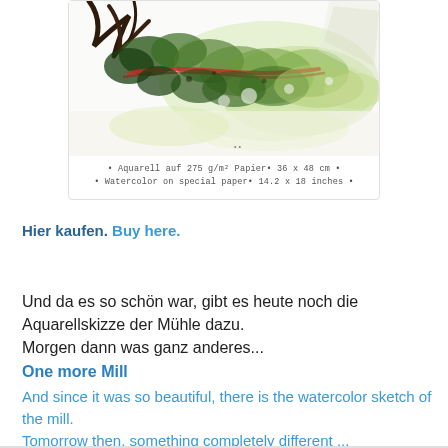[Figure (illustration): Watercolor painting of a mill, showing green and dark brushstrokes with splashes of red, on white paper]
• Aquarell auf 275 g/m² Papier• 36 x 48 cm •
• Watercolor on special paper• 14.2 x 18 inches •
Hier kaufen. Buy here.
Und da es so schön war, gibt es heute noch die Aquarellskizze der Mühle dazu.
Morgen dann was ganz anderes...
One more Mill
And since it was so beautiful, there is the watercolor sketch of the mill.
Tomorrow then, something completely different ...